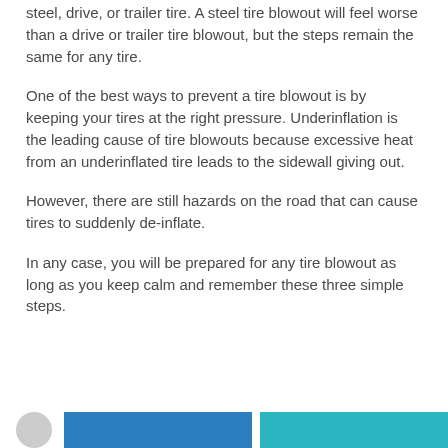steel, drive, or trailer tire. A steel tire blowout will feel worse than a drive or trailer tire blowout, but the steps remain the same for any tire.
One of the best ways to prevent a tire blowout is by keeping your tires at the right pressure. Underinflation is the leading cause of tire blowouts because excessive heat from an underinflated tire leads to the sidewall giving out.
However, there are still hazards on the road that can cause tires to suddenly de-inflate.
In any case, you will be prepared for any tire blowout as long as you keep calm and remember these three simple steps.